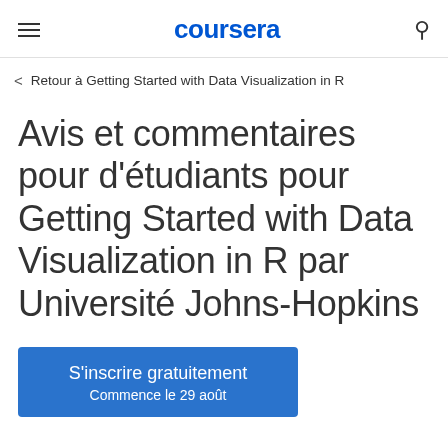coursera
< Retour à Getting Started with Data Visualization in R
Avis et commentaires pour d'étudiants pour Getting Started with Data Visualization in R par Université Johns-Hopkins
S'inscrire gratuitement
Commence le 29 août